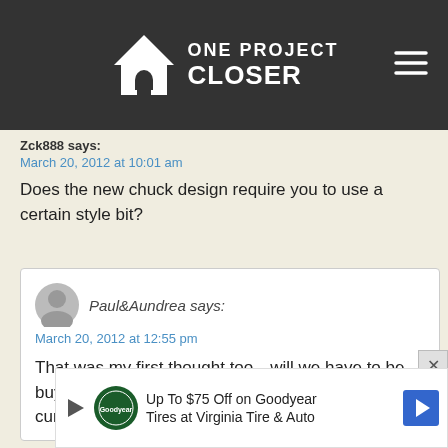[Figure (logo): One Project Closer website logo with house icon on dark grey header bar]
Zck888 says:
March 20, 2012 at 10:01 am
Does the new chuck design require you to use a certain style bit?
Paul&Aundrea says:
March 20, 2012 at 12:55 pm
That was my first thought too…will we have to be buying new bits for this model or will all of our current ones fit into it?
[Figure (infographic): Advertisement banner: Up To $75 Off on Goodyear Tires at Virginia Tire & Auto]